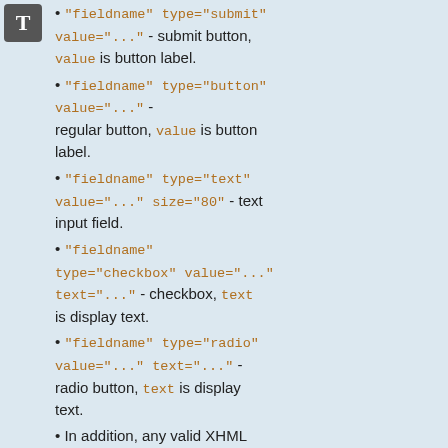"fieldname" type="submit" value="..." - submit button, value is button label.
"fieldname" type="button" value="..." onclick="..." - regular button, value is button label.
"fieldname" type="text" value="..." size="80" - text input field.
"fieldname" type="checkbox" value="..." text="..." - checkbox, text is display text.
"fieldname" type="radio" value="..." text="..." - radio button, text is display text.
In addition, any valid XHML and HTML5 input type is supported, such as type="date", type="file",